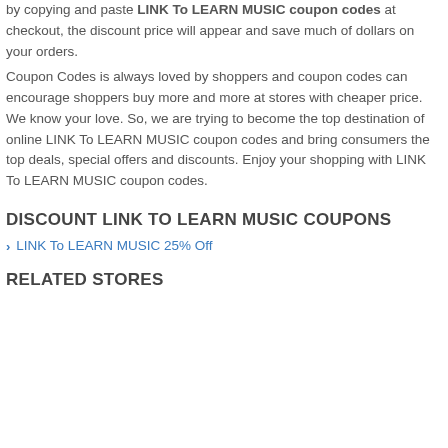by copying and paste LINK To LEARN MUSIC coupon codes at checkout, the discount price will appear and save much of dollars on your orders.
Coupon Codes is always loved by shoppers and coupon codes can encourage shoppers buy more and more at stores with cheaper price. We know your love. So, we are trying to become the top destination of online LINK To LEARN MUSIC coupon codes and bring consumers the top deals, special offers and discounts. Enjoy your shopping with LINK To LEARN MUSIC coupon codes.
DISCOUNT LINK TO LEARN MUSIC COUPONS
LINK To LEARN MUSIC 25% Off
RELATED STORES